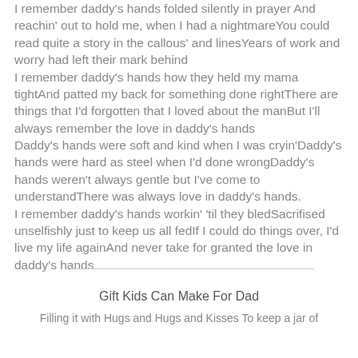I remember daddy's hands folded silently in prayer And reachin' out to hold me, when I had a nightmareYou could read quite a story in the callous' and linesYears of work and worry had left their mark behind
I remember daddy's hands how they held my mama tightAnd patted my back for something done rightThere are things that I'd forgotten that I loved about the manBut I'll always remember the love in daddy's hands
Daddy's hands were soft and kind when I was cryin'Daddy's hands were hard as steel when I'd done wrongDaddy's hands weren't always gentle but I've come to understandThere was always love in daddy's hands.
I remember daddy's hands workin' 'til they bledSacrifised unselfishly just to keep us all fedIf I could do things over, I'd live my life againAnd never take for granted the love in daddy's hands
Gift Kids Can Make For Dad
Filling it with Hugs and Hugs and Kisses To keep a jar of